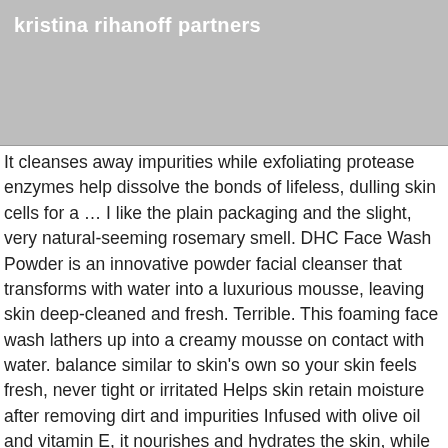kristina rihanoff partners
It cleanses away impurities while exfoliating protease enzymes help dissolve the bonds of lifeless, dulling skin cells for a ... I like the plain packaging and the slight, very natural-seeming rosemary smell. DHC Face Wash Powder is an innovative powder facial cleanser that transforms with water into a luxurious mousse, leaving skin deep-cleaned and fresh. Terrible. This foaming face wash lathers up into a creamy mousse on contact with water. balance similar to skin’s own so your skin feels fresh, never tight or irritated Helps skin retain moisture after removing dirt and impurities Infused with olive oil and vitamin E, it nourishes and hydrates the skin, while rinsing completely clean, never leaving behind a greasy residue. Dr. Dennis Gross Skincare Review –